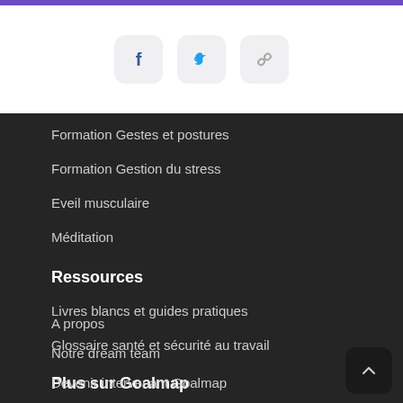[Figure (other): Purple top bar stripe]
[Figure (other): Social media icons: Facebook (blue bird icon), Twitter (blue bird icon), and a chain/link icon, each in a rounded square grey background]
Formation Gestes et postures
Formation Gestion du stress
Eveil musculaire
Méditation
Ressources
Livres blancs et guides pratiques
Glossaire santé et sécurité au travail
Plus sur Goalmap
A propos
Notre dream team
Devenir intervenant Goalmap